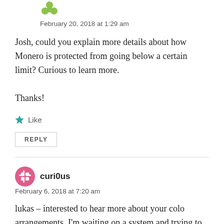[Figure (illustration): Small green avatar icon (clover/flower shape) at top left]
February 20, 2018 at 1:29 am
Josh, could you explain more details about how Monero is protected from going below a certain limit? Curious to learn more.

Thanks!
Like
REPLY
[Figure (illustration): Pink circular avatar icon with grid/hash pattern for user curi0us]
curi0us
February 6, 2018 at 7:20 am
lukas – interested to hear more about your colo arrangements. I'm waiting on a system and trying to get colo space – most local options dont support the